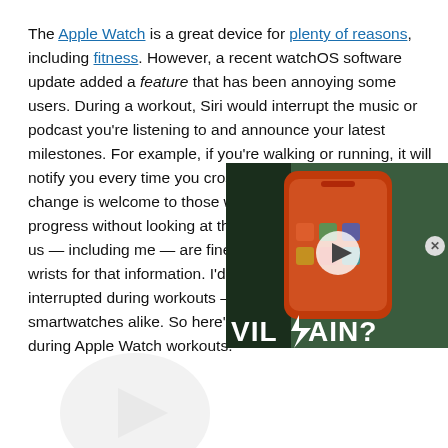The Apple Watch is a great device for plenty of reasons, including fitness. However, a recent watchOS software update added a feature that has been annoying some users. During a workout, Siri would interrupt the music or podcast you're listening to and announce your latest milestones. For example, if you're walking or running, it will notify you every time you cross a kilometer mark. This change is welcome to those who want to monitor their progress without looking at the screen. However, plenty of us — including me — are fine with just looking at their wrists for that information. I'd interrupted during workouts — smartwatches alike. So here's during Apple Watch workouts.
[Figure (screenshot): Video overlay showing a smartphone with 'VILLAIN?' text, partially covering the article text]